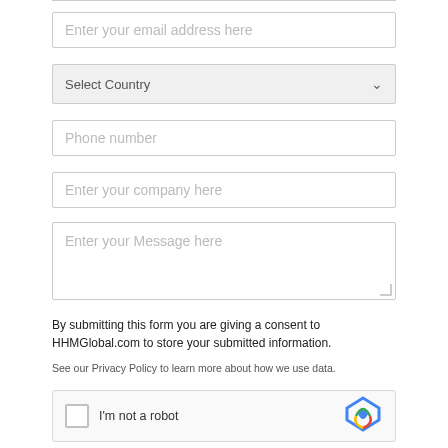Enter your email address here
Select Country
Phone number
Enter your company here
Enter your Message here
By submitting this form you are giving a consent to HHMGlobal.com to store your submitted information.
See our Privacy Policy to learn more about how we use data.
[Figure (screenshot): reCAPTCHA widget with checkbox and 'I'm not a robot' label, with the reCAPTCHA logo on the right]